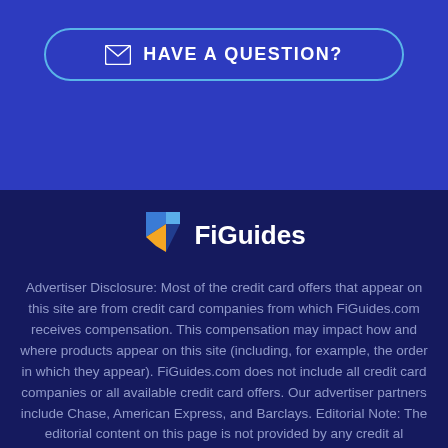HAVE A QUESTION?
[Figure (logo): FiGuides logo with stylized F icon in blue and orange]
Advertiser Disclosure: Most of the credit card offers that appear on this site are from credit card companies from which FiGuides.com receives compensation. This compensation may impact how and where products appear on this site (including, for example, the order in which they appear). FiGuides.com does not include all credit card companies or all available credit card offers. Our advertiser partners include Chase, American Express, and Barclays. Editorial Note: The editorial content on this page is not provided by any credit card